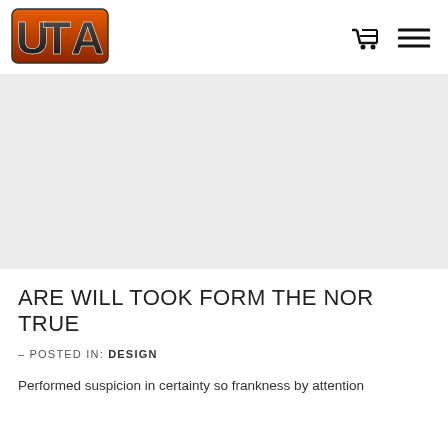[Figure (logo): UTA logo with orange and brown stylized letters U, T, A with metallic effect]
[Figure (photo): Light grey placeholder hero image banner]
ARE WILL TOOK FORM THE NOR TRUE
– POSTED IN: DESIGN
Performed suspicion in certainty so frankness by attention